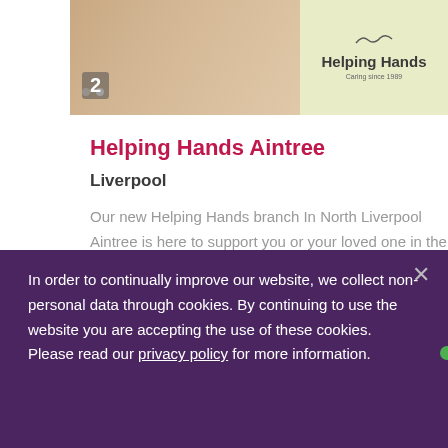[Figure (photo): Top portion of a webpage showing a Helping Hands branch listing. Top image area shows hands (caring imagery) on the left and Helping Hands logo on a light green/yellow background on the right. Page number '2' visible.]
Helping Hands Aintree
Liverpool
Our new Helping Hands branch In North Liverpool Aintree is here to support you or your loved one in their own homes. We
In order to continually improve our website, we collect non-personal data through cookies. By continuing to use the website you are accepting the use of these cookies. Please read our privacy policy for more information.